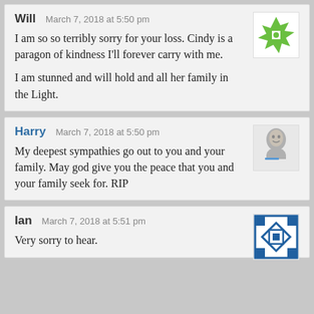Will   March 7, 2018 at 5:50 pm
I am so so terribly sorry for your loss. Cindy is a paragon of kindness I'll forever carry with me.

I am stunned and will hold and all her family in the Light.
Harry   March 7, 2018 at 5:50 pm
My deepest sympathies go out to you and your family. May god give you the peace that you and your family seek for. RIP
Ian   March 7, 2018 at 5:51 pm
Very sorry to hear.